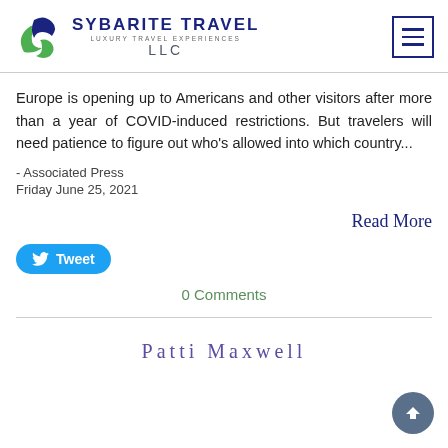[Figure (logo): Sybarite Travel LLC logo with decorative swoosh in blue and green, company name text]
Europe is opening up to Americans and other visitors after more than a year of COVID-induced restrictions. But travelers will need patience to figure out who's allowed into which country...
- Associated Press
Friday June 25, 2021
Read More
Tweet
0 Comments
Patti Maxwell